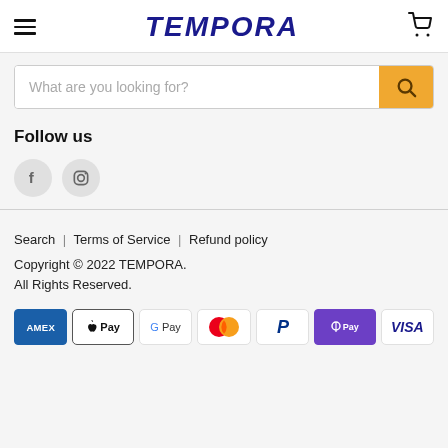TEMPORA
What are you looking for?
Follow us
[Figure (logo): Facebook and Instagram social media icons as grey circles]
Search | Terms of Service | Refund policy
Copyright © 2022 TEMPORA. All Rights Reserved.
[Figure (infographic): Payment method logos: AMEX, Apple Pay, G Pay, Mastercard, PayPal, Shop Pay, VISA]